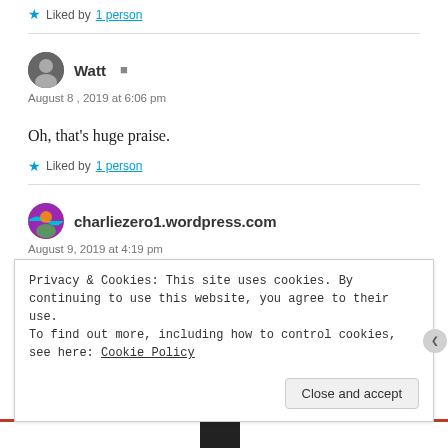★ Liked by 1 person
Watt
August 8, 2019 at 6:06 pm
Oh, that's huge praise.
★ Liked by 1 person
charliezero1.wordpress.com
August 9, 2019 at 4:19 pm
Privacy & Cookies: This site uses cookies. By continuing to use this website, you agree to their use. To find out more, including how to control cookies, see here: Cookie Policy
Close and accept